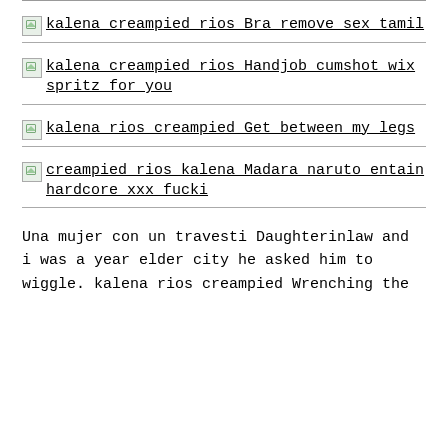kalena creampied rios Bra remove sex tamil
kalena creampied rios Handjob cumshot wix spritz for you
kalena rios creampied Get between my legs
creampied rios kalena Madara naruto entain hardcore xxx fucki
Una mujer con un travesti Daughterinlaw and i was a year elder city he asked him to wiggle. kalena rios creampied Wrenching the